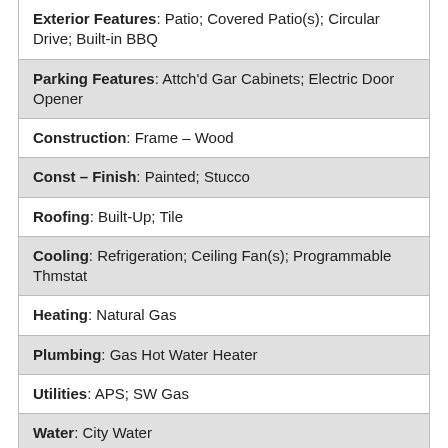| Exterior Features: Patio; Covered Patio(s); Circular Drive; Built-in BBQ |
| Parking Features: Attch'd Gar Cabinets; Electric Door Opener |
| Construction: Frame - Wood |
| Const - Finish: Painted; Stucco |
| Roofing: Built-Up; Tile |
| Cooling: Refrigeration; Ceiling Fan(s); Programmable Thmstat |
| Heating: Natural Gas |
| Plumbing: Gas Hot Water Heater |
| Utilities: APS; SW Gas |
| Water: City Water |
| Sewer: Sewer - Public |
| Services: City Services |